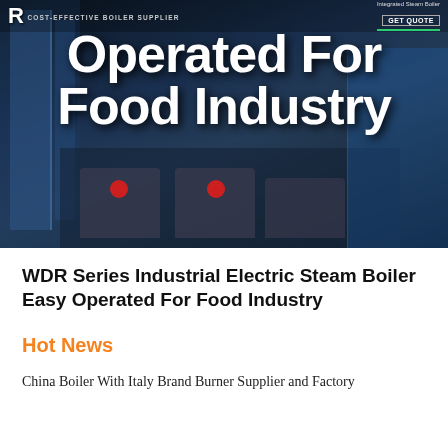[Figure (photo): Hero banner image showing industrial boilers in a dark blue setting with white large text overlay reading 'Operated For Food Industry'. Header bar shows logo, tagline 'COST-EFFECTIVE BOILER SUPPLIER', and GET QUOTE button with green underline.]
WDR Series Industrial Electric Steam Boiler Easy Operated For Food Industry
Hot News
China Boiler With Italy Brand Burner Supplier and Factory